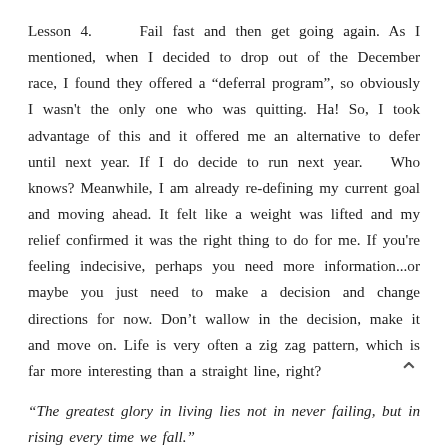Lesson 4.    Fail fast and then get going again. As I mentioned, when I decided to drop out of the December race, I found they offered a “deferral program”, so obviously I wasn't the only one who was quitting. Ha! So, I took advantage of this and it offered me an alternative to defer until next year. If I do decide to run next year.   Who knows? Meanwhile, I am already re-defining my current goal and moving ahead. It felt like a weight was lifted and my relief confirmed it was the right thing to do for me. If you're feeling indecisive, perhaps you need more information...or maybe you just need to make a decision and change directions for now. Don’t wallow in the decision, make it and move on. Life is very often a zig zag pattern, which is far more interesting than a straight line, right?
“The greatest glory in living lies not in never failing, but in rising every time we fall.”